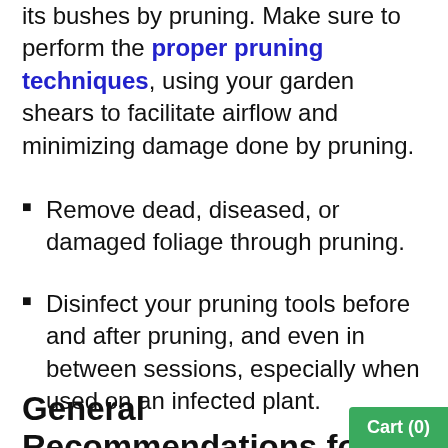its bushes by pruning. Make sure to perform the proper pruning techniques, using your garden shears to facilitate airflow and minimizing damage done by pruning.
Remove dead, diseased, or damaged foliage through pruning.
Disinfect your pruning tools before and after pruning, and even in between sessions, especially when used on an infected plant.
General Recommendations for Treating Powdery Mildew